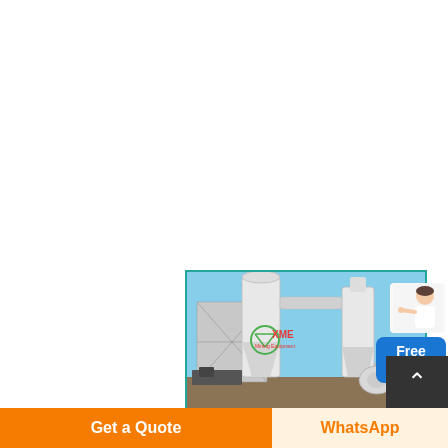[Figure (photo): Industrial cement mill / coal mill equipment photo showing large white cylindrical grinding mill structures with cyclone separators and connecting pipes, with XME Mining Equipment logo watermark, against blue sky background]
как рассчитать угля мельница емкость для цементного завода
Free chat
Get a Quote
WhatsApp